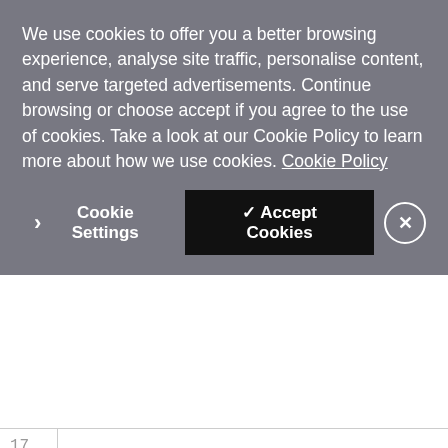We use cookies to offer you a better browsing experience, analyse site traffic, personalise content, and serve targeted advertisements. Continue browsing or choose accept if you agree to the use of cookies. Take a look at our Cookie Policy to learn more about how we use cookies. Cookie Policy
17
As you can see we pass the verification request the name of the web app. This is used in the text message the user receives and adds some very nice brand personalisation.
If the message has been sent successfully we redirect the user to a page to fill in the code they will receive. Obviously at this stage this would fail because we haven't implemented this just yet.